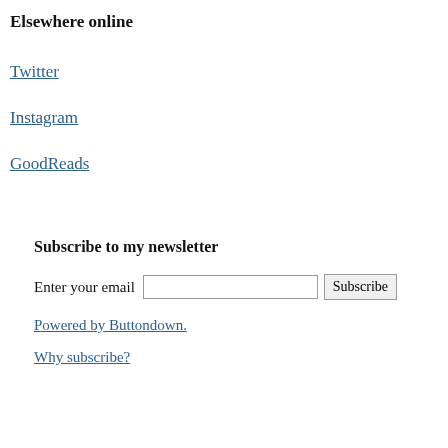Elsewhere online
Twitter
Instagram
GoodReads
Subscribe to my newsletter
Enter your email  [input]  Subscribe
Powered by Buttondown.
Why subscribe?